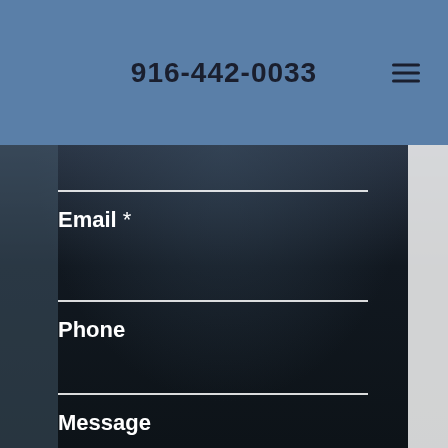916-442-0033
Email *
Phone
Message